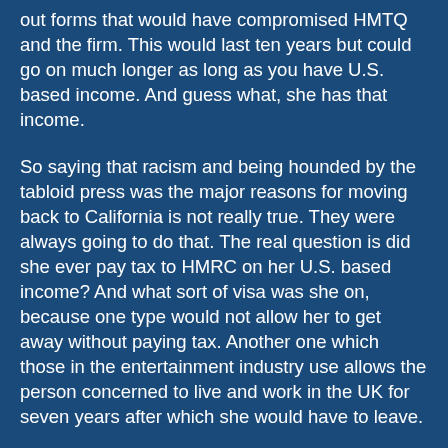out forms that would have compromised HMTQ and the firm. This would last ten years but could go on much longer as long as you have U.S. based income. And guess what, she has that income.
So saying that racism and being hounded by the tabloid press was the major reasons for moving back to California is not really true. They were always going to do that. The real question is did she ever pay tax to HMRC on her U.S. based income? And what sort of visa was she on, because one type would not allow her to get away without paying tax. Another one which those in the entertainment industry use allows the person concerned to live and work in the UK for seven years after which she would have to leave.
If the courtiers and the government had put their heads together and tried to find a workable solution that Oprah interview might not have taken place. As